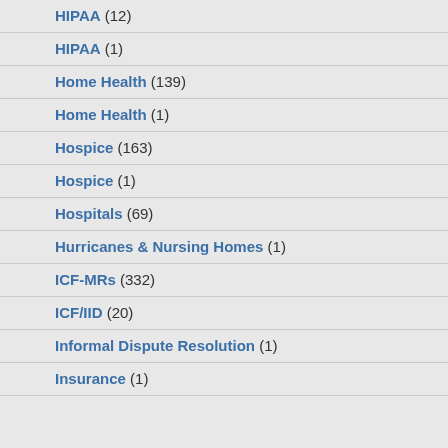HIPAA (12)
HIPAA (1)
Home Health (139)
Home Health (1)
Hospice (163)
Hospice (1)
Hospitals (69)
Hurricanes & Nursing Homes (1)
ICF-MRs (332)
ICF/IID (20)
Informal Dispute Resolution (1)
Insurance (1)